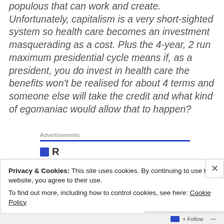populous that can work and create. Unfortunately, capitalism is a very short-sighted system so health care becomes an investment masquerading as a cost. Plus the 4-year, 2 run maximum presidential cycle means if, as a president, you do invest in health care the benefits won't be realised for about 4 terms and someone else will take the credit and what kind of egomaniac would allow that to happen?
Advertisements
Privacy & Cookies: This site uses cookies. By continuing to use this website, you agree to their use. To find out more, including how to control cookies, see here: Cookie Policy